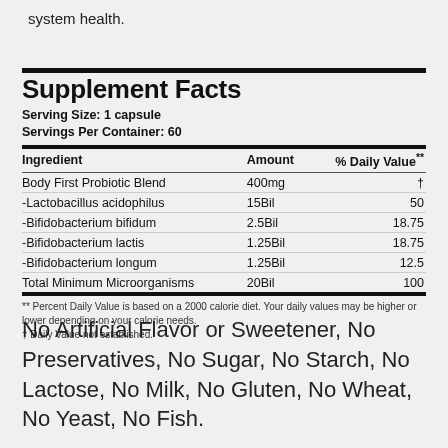system health.
| Ingredient | Amount | % Daily Value** |
| --- | --- | --- |
| Body First Probiotic Blend | 400mg | † |
| -Lactobacillus acidophilus | 15Bil | 50 |
| -Bifidobacterium bifidum | 2.5Bil | 18.75 |
| -Bifidobacterium lactis | 1.25Bil | 18.75 |
| -Bifidobacterium longum | 1.25Bil | 12.5 |
| Total Minimum Microorganisms | 20Bil | 100 |
** Percent Daily Value is based on a 2000 calorie diet. Your daily values may be higher or lower depending on your calorie needs.
† Daily Value not established.
No Artificial Flavor or Sweetener, No Preservatives, No Sugar, No Starch, No Lactose, No Milk, No Gluten, No Wheat, No Yeast, No Fish.